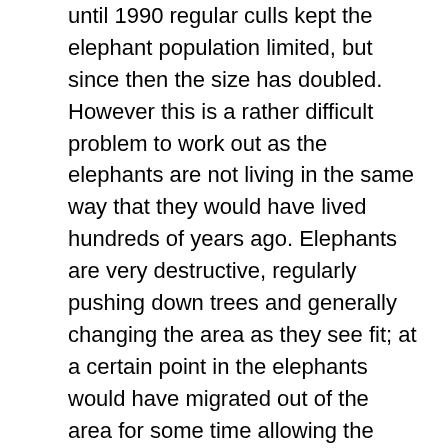until 1990 regular culls kept the elephant population limited, but since then the size has doubled. However this is a rather difficult problem to work out as the elephants are not living in the same way that they would have lived hundreds of years ago. Elephants are very destructive, regularly pushing down trees and generally changing the area as they see fit; at a certain point in the elephants would have migrated out of the area for some time allowing the land to recover. Once the elephants were fenced in this was not possible. The hope is that this migrating behaviour can be restarted within transfrontier parks like the Kruger, though this behaviour might take many years to start.
On a smaller scale, due to the fact that large parts of the reserve have never been anything other than wild, this means that the ecosystem functions well in the natural way that it did for millenia before humans appeared. As such apart from all the big animals to be looking for, there